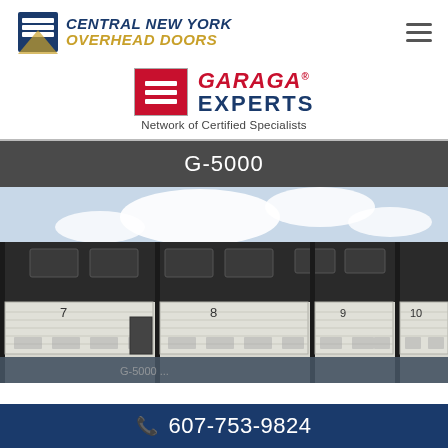[Figure (logo): Central New York Overhead Doors logo with blue door icon and stylized text in blue and gold]
[Figure (logo): Garaga Experts logo - red box with white horizontal stripes, GARAGA in red italic, EXPERTS in dark blue, Network of Certified Specialists subtitle]
G-5000
[Figure (photo): Row of white sectional commercial overhead doors numbered 7-10 on a dark industrial building with small rectangular windows above each door]
607-753-9824